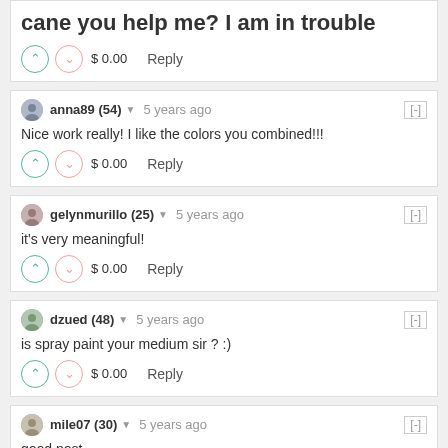sir I wanna ask some question sir I am new here cane you help me? I am in trouble
$ 0.00   Reply
anna89 (54) — 5 years ago [-]
Nice work really! I like the colors you combined!!!
$ 0.00   Reply
gelynmurillo (25) — 5 years ago [-]
it's very meaningful!
$ 0.00   Reply
dzued (48) — 5 years ago [-]
is spray paint your medium sir ? :)
$ 0.00   Reply
mile07 (30) — 5 years ago [-]
good post